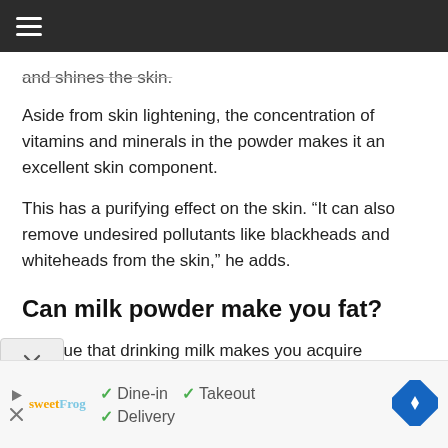and shines the skin.
Aside from skin lightening, the concentration of vitamins and minerals in the powder makes it an excellent skin component.
This has a purifying effect on the skin. “It can also remove undesired pollutants like blackheads and whiteheads from the skin,” he adds.
Can milk powder make you fat?
Is it true that drinking milk makes you acquire weight? This question has a clear answer: NO.